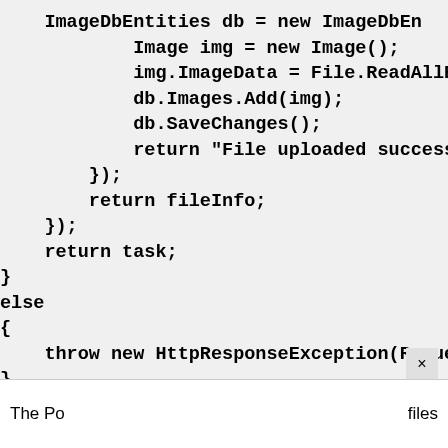ImageDbEntities db = new ImageDbEn
            Image img = new Image();
            img.ImageData = File.ReadAllBytes(
            db.Images.Add(img);
            db.SaveChanges();
            return "File uploaded successfully
        });
        return fileInfo;
    });
    return task;
}
else
{
    throw new HttpResponseException(Reques
}
}
The Po
files